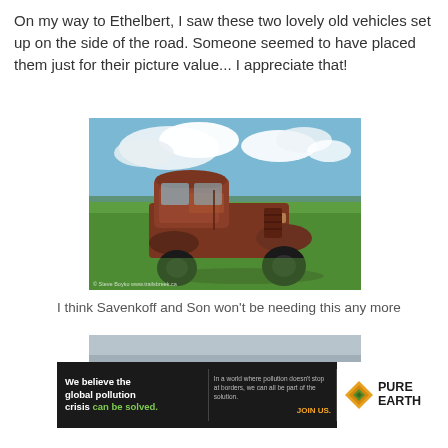On my way to Ethelbert, I saw these two lovely old vehicles set up on the side of the road. Someone seemed to have placed them just for their picture value... I appreciate that!
[Figure (photo): An old rusted vintage truck sitting in a green grassy field with a blue sky and clouds in the background. Watermark text reads: Steve Boyko www.trailsbreek.ca]
I think Savenkoff and Son won't be needing this any more
[Figure (photo): Partial view of a second old vehicle, mostly obscured, shown at the bottom of the page with a grey/blue coloring.]
[Figure (infographic): Pure Earth advertisement banner. Left black section reads: 'We believe the global pollution crisis can be solved.' Middle section text: 'In a world where pollution doesn't stop at borders, we can all be part of the solution. JOIN US.' Right section shows Pure Earth logo with diamond icon.]